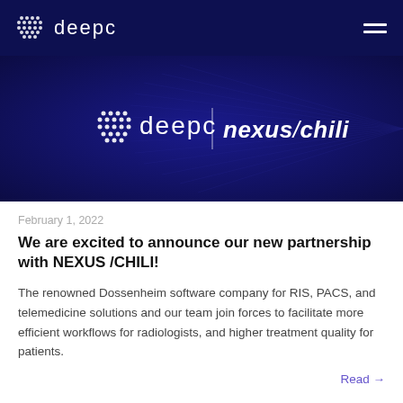deepc
[Figure (logo): deepc and nexus/chili logos side by side on a dark navy blue background with geometric grid pattern]
February 1, 2022
We are excited to announce our new partnership with NEXUS /CHILI!
The renowned Dossenheim software company for RIS, PACS, and telemedicine solutions and our team join forces to facilitate more efficient workflows for radiologists, and higher treatment quality for patients.
Read →